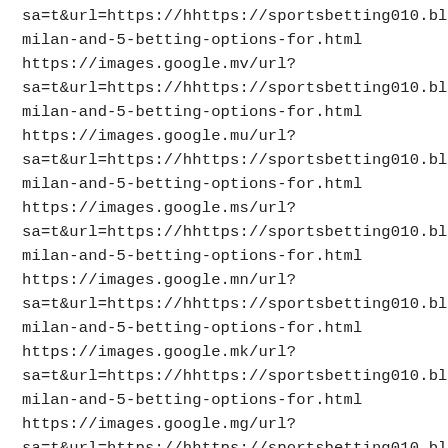sa=t&url=https://hhttps://sportsbetting010.blogspot.com/2
milan-and-5-betting-options-for.html
https://images.google.mv/url?
sa=t&url=https://hhttps://sportsbetting010.blogspot.com/2
milan-and-5-betting-options-for.html
https://images.google.mu/url?
sa=t&url=https://hhttps://sportsbetting010.blogspot.com/2
milan-and-5-betting-options-for.html
https://images.google.ms/url?
sa=t&url=https://hhttps://sportsbetting010.blogspot.com/2
milan-and-5-betting-options-for.html
https://images.google.mn/url?
sa=t&url=https://hhttps://sportsbetting010.blogspot.com/2
milan-and-5-betting-options-for.html
https://images.google.mk/url?
sa=t&url=https://hhttps://sportsbetting010.blogspot.com/2
milan-and-5-betting-options-for.html
https://images.google.mg/url?
sa=t&url=https://hhttps://sportsbetting010.blogspot.com/2
milan-and-5-betting-options-for.html